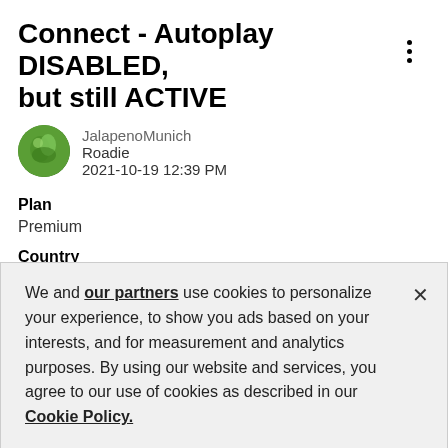Connect - Autoplay DISABLED, but still ACTIVE
JalapenoMunich
Roadie
2021-10-19 12:39 PM
Plan
Premium
Country
Germany
Device
Samsung Galaxy A51, Windows 10 notebook
We and our partners use cookies to personalize your experience, to show you ads based on your interests, and for measurement and analytics purposes. By using our website and services, you agree to our use of cookies as described in our Cookie Policy.